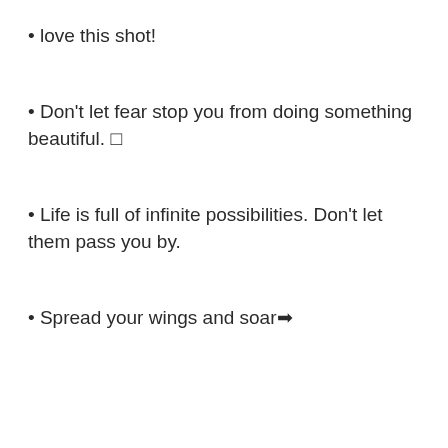love this shot!
Don't let fear stop you from doing something beautiful. 🌿
Life is full of infinite possibilities. Don't let them pass you by.
Spread your wings and soar➔